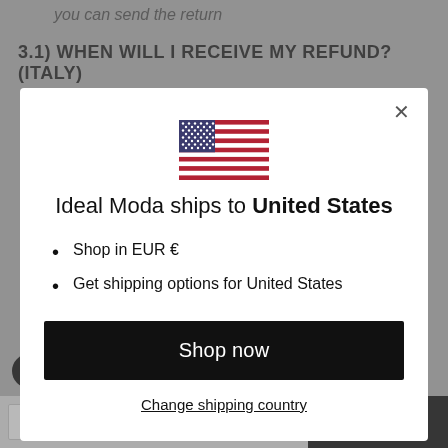you can send the return
3.1) WHEN WILL I RECEIVE MY REFUND? (ITALY)
[Figure (screenshot): Modal dialog with US flag, 'Ideal Moda ships to United States', bullet list with 'Shop in EUR €' and 'Get shipping options for United States', a black 'Shop now' button, and a 'Change shipping country' link. A bottom bar shows 'White / S - €24,50' with a dropdown and 'Add to cart' button.]